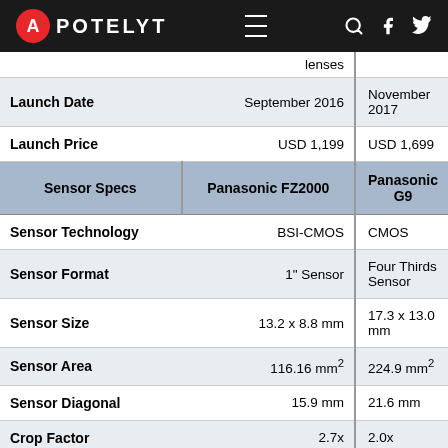APOTELYT
| Sensor Specs | Panasonic FZ2000 | Panasonic G9 |
| --- | --- | --- |
|  | lenses |  |
| Launch Date | September 2016 | November 2017 |
| Launch Price | USD 1,199 | USD 1,699 |
| Sensor Specs | Panasonic FZ2000 | Panasonic G9 |
| Sensor Technology | BSI-CMOS | CMOS |
| Sensor Format | 1" Sensor | Four Thirds Sensor |
| Sensor Size | 13.2 x 8.8 mm | 17.3 x 13.0 mm |
| Sensor Area | 116.16 mm² | 224.9 mm² |
| Sensor Diagonal | 15.9 mm | 21.6 mm |
| Crop Factor | 2.7x | 2.0x |
| Sensor Resolution | 20 Megapixels | 20.2 Megapixels |